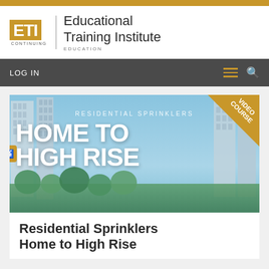[Figure (logo): ETI Educational Training Institute logo with gold ETI letters and tagline CONTINUING EDUCATION]
LOG IN
[Figure (photo): Course banner image showing residential and high-rise buildings in a city skyline with text overlay: RESIDENTIAL SPRINKLERS HOME TO HIGH RISE and gold VIDEO COURSE corner badge]
Residential Sprinklers Home to High Rise